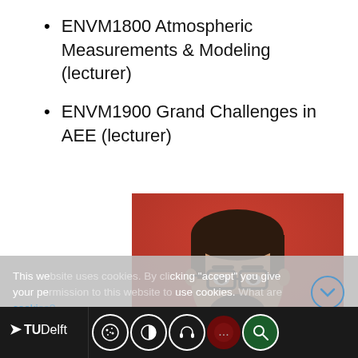ENVM1800 Atmospheric Measurements & Modeling (lecturer)
ENVM1900 Grand Challenges in AEE (lecturer)
[Figure (photo): Headshot of a smiling man with glasses and a beard against an orange/red background]
This website uses cookies. By clicking "accept" you give your permission to this website to use cookies. What are cookies?
[Figure (logo): TU Delft logo with navigation icons and Deny/Accept cookie buttons]